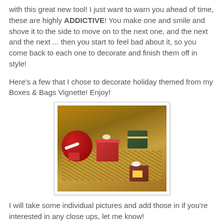with this great new tool!  I just want to warn you ahead of time, these are highly ADDICTIVE!  You make one and smile and shove it to the side to move on to the next one, and the next and the next ... then you start to feel bad about it, so you come back to each one to decorate and finish them off in style!
Here's a few that I chose to decorate holiday themed from my Boxes & Bags Vignette!  Enjoy!
[Figure (photo): A box filled with shredded paper/straw containing several holiday-themed decorated gift boxes, bags, and ornaments in red, green, and gold with ribbons, bows, and tags.]
I will take some individual pictures and add those in if you're interested in any close ups, let me know!